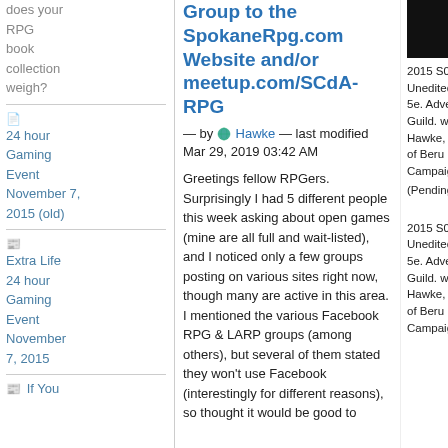does your RPG book collection weigh?
24 hour Gaming Event November 7, 2015 (old)
Extra Life 24 hour Gaming Event November 7, 2015
If You
Group to the SpokaneRpg.com Website and/or meetup.com/SCdA-RPG
— by Hawke — last modified Mar 29, 2019 03:42 AM
Greetings fellow RPGers. Surprisingly I had 5 different people this week asking about open games (mine are all full and wait-listed), and I noticed only a few groups posting on various sites right now, though many are active in this area. I mentioned the various Facebook RPG & LARP groups (among others), but several of them stated they won't use Facebook (interestingly for different reasons), so thought it would be good to
[Figure (photo): Dark photo in top right sidebar area]
2015 S01E05P1 Unedited. D&D 5e. Adventurer's Guild. w/DM Hawke, Worlds of Beru Campaign.
(Pending)
2015 S01E05P2 Unedited. D&D 5e. Adventurer's Guild. w/DM Hawke, Worlds of Beru Campaign.